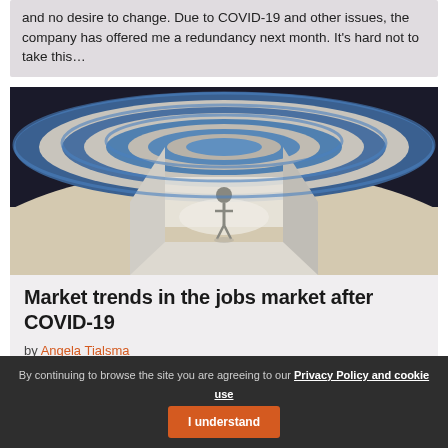and no desire to change. Due to COVID-19 and other issues, the company has offered me a redundancy next month. It's hard not to take this…
[Figure (illustration): A 3D rendered circular maze seen from ground level with a small stick figure standing at the entrance, viewed from a low angle. The maze has concentric circular walls in grey and blue tones.]
Market trends in the jobs market after COVID-19
by Angela Tialsma
By continuing to browse the site you are agreeing to our Privacy Policy and cookie use  I understand